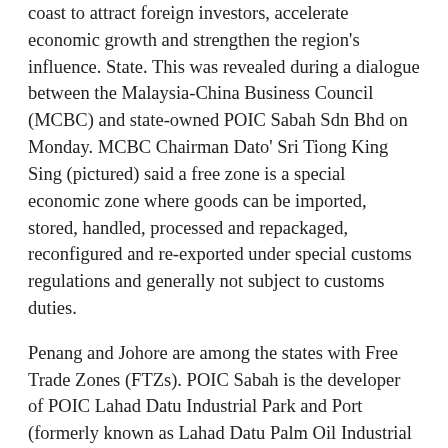coast to attract foreign investors, accelerate economic growth and strengthen the region's influence. State. This was revealed during a dialogue between the Malaysia-China Business Council (MCBC) and state-owned POIC Sabah Sdn Bhd on Monday. MCBC Chairman Dato' Sri Tiong King Sing (pictured) said a free zone is a special economic zone where goods can be imported, stored, handled, processed and repackaged, reconfigured and re-exported under special customs regulations and generally not subject to customs duties.
Penang and Johore are among the states with Free Trade Zones (FTZs). POIC Sabah is the developer of POIC Lahad Datu Industrial Park and Port (formerly known as Lahad Datu Palm Oil Industrial Cluster) which is seen as a key driver in making Sabah's east coast a new area of economic growth. Tiong, who is also the Malaysian Prime Minister's Special Envoy to China, and a delegation from MCBC were back in Sabah when they met with POIC Sabah's management team led by its Chairman Datuk Seri Yong Teck Lee and his Managing Director (CEO) Datuk Fredian Gan. The permanent secretary of the Ministry of Industrial Development and the director of Matrade and Mida Sabah were also present. Tiong last met with POIC Sabah officials in March